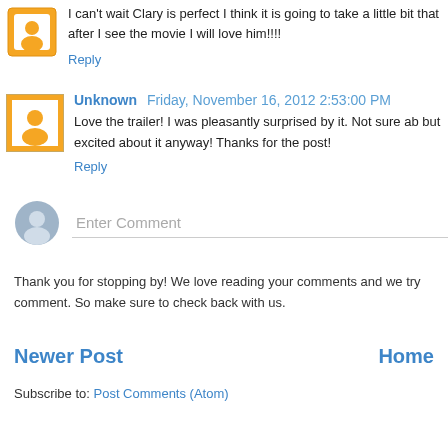I can't wait Clary is perfect I think it is going to take a little bit that after I see the movie I will love him!!!!
Reply
Unknown  Friday, November 16, 2012 2:53:00 PM
Love the trailer! I was pleasantly surprised by it. Not sure ab but excited about it anyway! Thanks for the post!
Reply
Enter Comment
Thank you for stopping by! We love reading your comments and we try comment. So make sure to check back with us.
Newer Post
Home
Subscribe to: Post Comments (Atom)